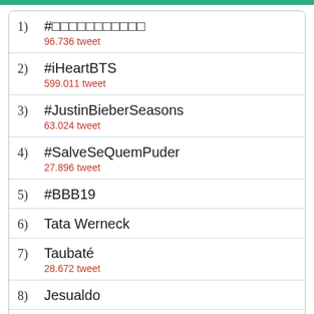1) #□□□□□□□□□□□ 96.736 tweet
2) #iHeartBTS 599.011 tweet
3) #JustinBieberSeasons 63.024 tweet
4) #SalveSeQuemPuder 27.896 tweet
5) #BBB19
6) Tata Werneck
7) Taubaté 28.672 tweet
8) Jesualdo
9) Guarani